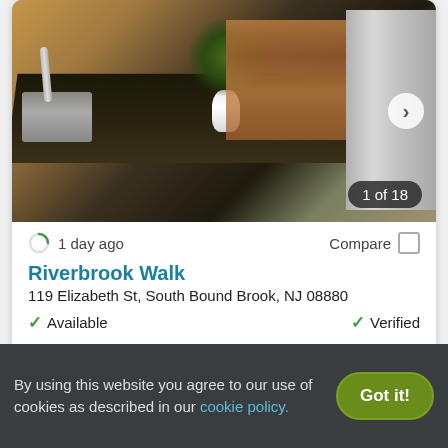[Figure (photo): Kitchen interior with dark granite countertop, stainless steel sink, white vase with plants, and stainless steel refrigerator. Photo carousel showing 1 of 18.]
1 day ago
Compare
Riverbrook Walk
119 Elizabeth St, South Bound Brook, NJ 08880
Available
Verified
1 BED
$2,025
2 BEDS
$2,375
By using this website you agree to our use of cookies as described in our cookie policy.